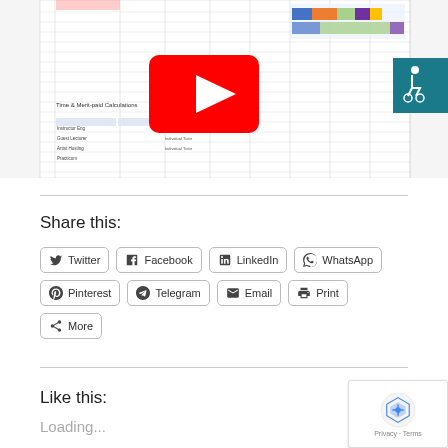[Figure (screenshot): Screenshot of a spreadsheet (Time & Merit-paid Calculations) with a YouTube play button overlay in the center. The spreadsheet shows rows of data with columns for names, types, hours, and costs. A teal accessibility icon is visible in the upper right.]
Share this:
Twitter
Facebook
LinkedIn
WhatsApp
Pinterest
Telegram
Email
Print
More
Like this:
Loading...